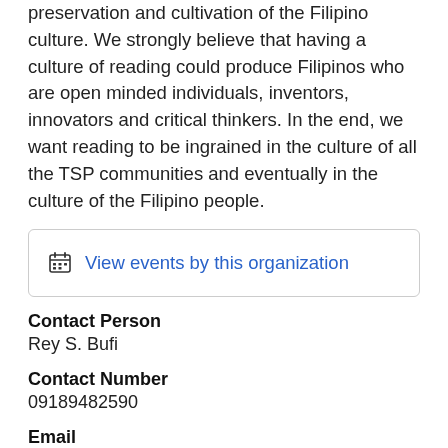preservation and cultivation of the Filipino culture. We strongly believe that having a culture of reading could produce Filipinos who are open minded individuals, inventors, innovators and critical thinkers. In the end, we want reading to be ingrained in the culture of all the TSP communities and eventually in the culture of the Filipino people.
View events by this organization
Contact Person
Rey S. Bufi
Contact Number
09189482590
Email
kwentongtsp@gmail.com